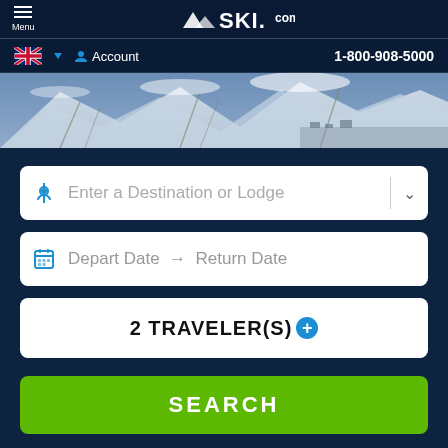SKI.com — Menu | Account | 1-800-908-5000
[Figure (screenshot): Aerial mountain ski resort photograph with snowy slopes and runs visible]
Enter a Destination or Lodge
Depart Date → Return Date
2 TRAVELER(S)
SEARCH
Lodging (checked), Lift Tickets, Flights
Transfers, Rentals, Cars, Activities